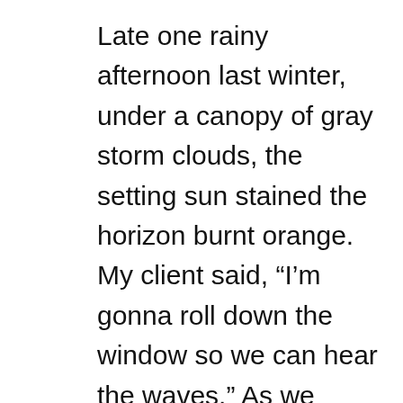Late one rainy afternoon last winter, under a canopy of gray storm clouds, the setting sun stained the horizon burnt orange. My client said, “I’m gonna roll down the window so we can hear the waves.” As we ended our session, I felt like I was right there with him in the passenger seat.
Another favorite place is a couple’s bedroom. It’s often the only room in the house where they can have privacy. There’s a special kind of